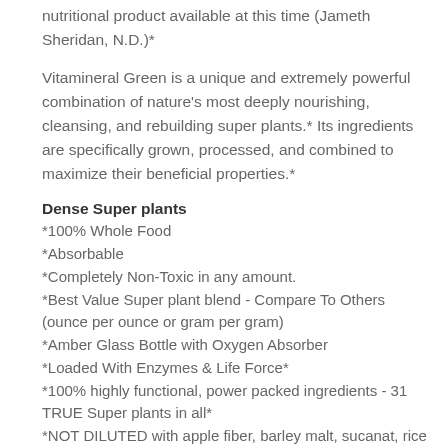nutritional product available at this time (Jameth Sheridan, N.D.)*
Vitamineral Green is a unique and extremely powerful combination of nature's most deeply nourishing, cleansing, and rebuilding super plants.* Its ingredients are specifically grown, processed, and combined to maximize their beneficial properties.*
Dense Super plants
*100% Whole Food
*Absorbable
*Completely Non-Toxic in any amount.
*Best Value Super plant blend - Compare To Others (ounce per ounce or gram per gram)
*Amber Glass Bottle with Oxygen Absorber
*Loaded With Enzymes & Life Force*
*100% highly functional, power packed ingredients - 31 TRUE Super plants in all*
*NOT DILUTED with apple fiber, barley malt, sucanat, rice starch, large amounts of lecithin, or